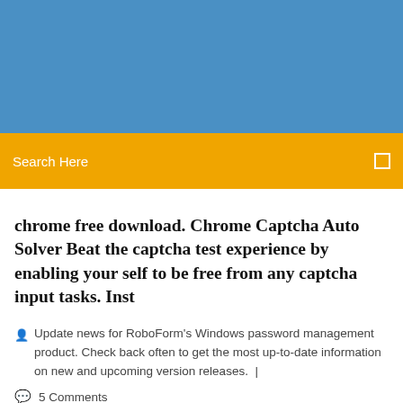[Figure (other): Blue header banner background]
Search Here
chrome free download. Chrome Captcha Auto Solver Beat the captcha test experience by enabling your self to be free from any captcha input tasks. Inst
Update news for RoboForm's Windows password management product. Check back often to get the most up-to-date information on new and upcoming version releases.  |
5 Comments